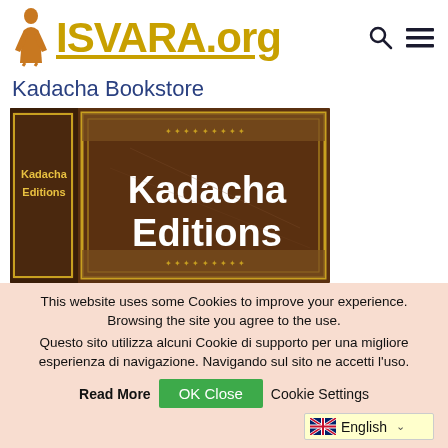[Figure (logo): ISVARA.org website header with a figure of a walking monk/sadhu in orange/saffron robes on the left and the golden text 'ISVARA.org' with an underline, plus search and hamburger menu icons on the right]
Kadacha Bookstore
[Figure (photo): Photo of an old ornate leather-bound book cover with gold decorative border, showing 'Kadacha Editions' in large white bold text on a brown background. A smaller spine view on the left also reads 'Kadacha Editions'.]
This website uses some Cookies to improve your experience. Browsing the site you agree to the use. Questo sito utilizza alcuni Cookie di supporto per una migliore esperienza di navigazione. Navigando sul sito ne accetti l'uso.
Read More   OK Close   Cookie Settings
English